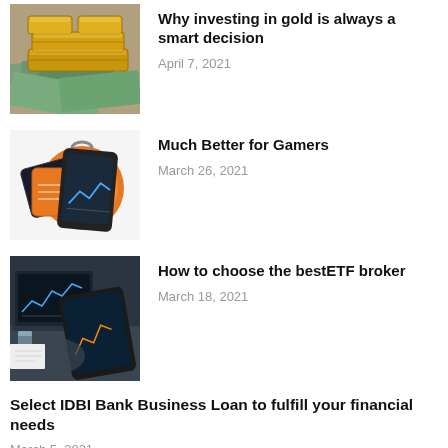[Figure (photo): Gold bars stacked on top of US dollar bills]
Why investing in gold is always a smart decision
April 7, 2021
[Figure (photo): Orange keychain with credit/payment cards and a smartphone showing financial app]
Much Better for Gamers
March 26, 2021
[Figure (photo): Person using tablet and laptop with financial charts/graphs on screen]
How to choose the bestETF broker
March 18, 2021
Select IDBI Bank Business Loan to fulfill your financial needs
March 5, 2021
[Figure (photo): Partial photo of a person or financial scene - cropped at bottom]
What Should You Look for in an